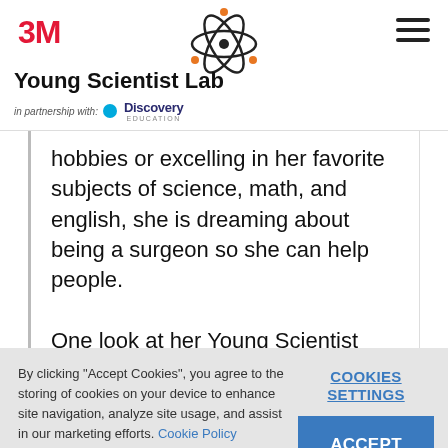3M Young Scientist Lab — in partnership with Discovery Education
hobbies or excelling in her favorite subjects of science, math, and english, she is dreaming about being a surgeon so she can help people.

One look at her Young Scientist Challenge entry on
By clicking "Accept Cookies", you agree to the storing of cookies on your device to enhance site navigation, analyze site usage, and assist in our marketing efforts. Cookie Policy
COOKIES SETTINGS
ACCEPT COOKIES